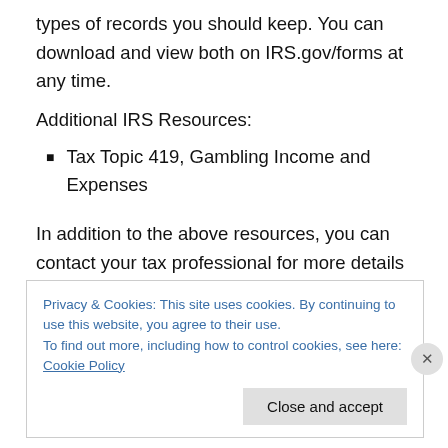types of records you should keep. You can download and view both on IRS.gov/forms at any time.
Additional IRS Resources:
Tax Topic 419, Gambling Income and Expenses
In addition to the above resources, you can contact your tax professional for more details on the records you should keep and the tax consequences if you should win “big”.
Privacy & Cookies: This site uses cookies. By continuing to use this website, you agree to their use.
To find out more, including how to control cookies, see here: Cookie Policy